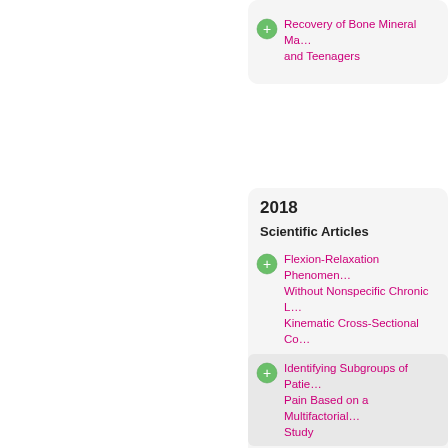Recovery of Bone Mineral Ma… and Teenagers
2018
Scientific Articles
Flexion-Relaxation Phenomen… Without Nonspecific Chronic L… Kinematic Cross-Sectional Co…
Identifying Subgroups of Patie… Pain Based on a Multifactorial… Study
Minimally Invasive Surgery fo… and Posterior Techniques
Spinal infections in children
The Contemporary Bacteriolog… in Children in Switzerland